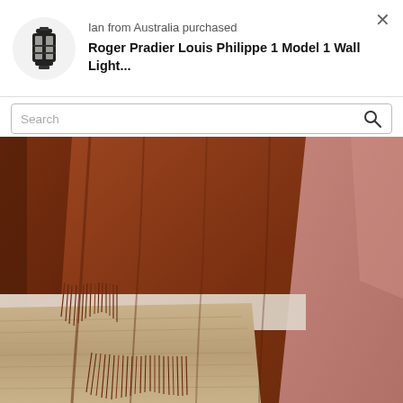[Figure (infographic): Notification popup showing a lantern product image, text 'Ian from Australia purchased' and 'Roger Pradier Louis Philippe 1 Model 1 Wall Light...' with a close button]
Ian from Australia purchased
Roger Pradier Louis Philippe 1 Model 1 Wall Light...
Search
[Figure (photo): Close-up photo of a rich brown/rust colored wool throw blanket with fringe, draped over what appears to be a sofa, with a beige rug visible on the floor and a dusty rose/mauve colored fabric on the right side]